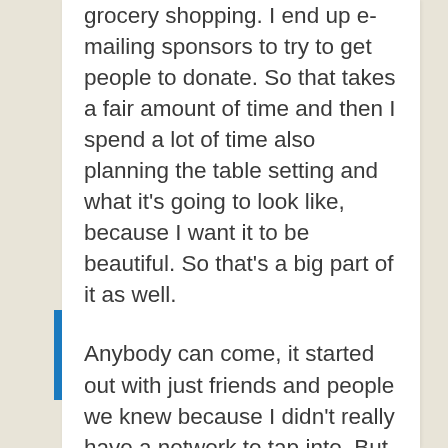grocery shopping. I end up e-mailing sponsors to try to get people to donate. So that takes a fair amount of time and then I spend a lot of time also planning the table setting and what it's going to look like, because I want it to be beautiful. So that's a big part of it as well.
Anybody can come, it started out with just friends and people we knew because I didn't really have a network to tap into. But it's grown and now I can publicize it on social media and people who are in my area will sign up. I usually partner with someone else to help out. So they often publicize also and tap into their network. So